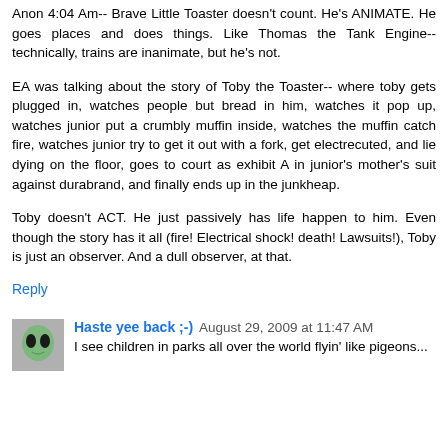Anon 4:04 Am-- Brave Little Toaster doesn't count. He's ANIMATE. He goes places and does things. Like Thomas the Tank Engine-- technically, trains are inanimate, but he's not.
EA was talking about the story of Toby the Toaster-- where toby gets plugged in, watches people but bread in him, watches it pop up, watches junior put a crumbly muffin inside, watches the muffin catch fire, watches junior try to get it out with a fork, get electrecuted, and lie dying on the floor, goes to court as exhibit A in junior's mother's suit against durabrand, and finally ends up in the junkheap.
Toby doesn't ACT. He just passively has life happen to him. Even though the story has it all (fire! Electrical shock! death! Lawsuits!), Toby is just an observer. And a dull observer, at that.
Reply
Haste yee back ;-) August 29, 2009 at 11:47 AM
I see children in parks all over the world flyin' like pigeons...